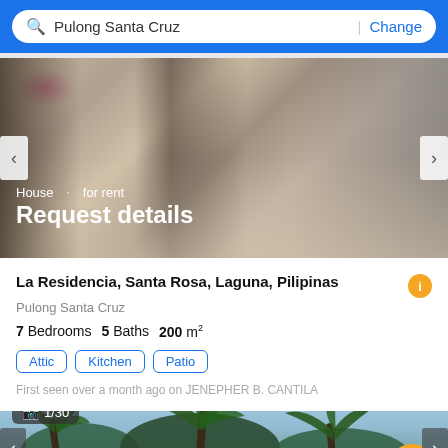Pulong Santa Cruz | Change
[Figure (photo): Interior photo of a furnished living/dining room with dark cabinet, flowers, chairs and coffee table]
House · for rent
Request details
La Residencia, Santa Rosa, Laguna, Pilipinas
Pulong Santa Cruz
7 Bedrooms  5 Baths  200 m²
Attic  Kitchen  Patio
First seen over a month ago on JENEPHER B. CANTILA
[Figure (photo): Outdoor photo of palm trees against blue sky, showing 1/30 photo counter]